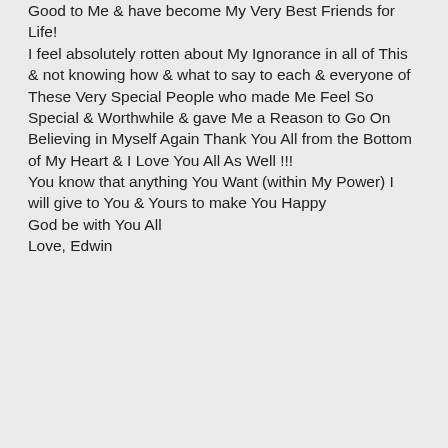Good to Me & have become My Very Best Friends for Life! I feel absolutely rotten about My Ignorance in all of This & not knowing how & what to say to each & everyone of These Very Special People who made Me Feel So Special & Worthwhile & gave Me a Reason to Go On Believing in Myself Again Thank You All from the Bottom of My Heart & I Love You All As Well !!! You know that anything You Want (within My Power) I will give to You & Yours to make You Happy God be with You All Love, Edwin